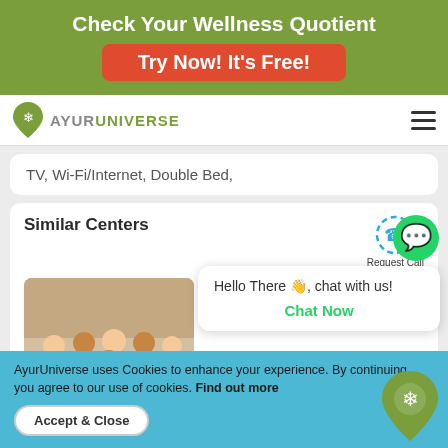Check Your Wellness Quotient
Try Now! It's Free!
[Figure (logo): AyurUniverse logo with green pin/leaf icon and text AYURUNIVERSE]
TV, Wi-Fi/Internet, Double Bed,
Similar Centers
[Figure (photo): Group of people at a yoga center, sitting and standing, some holding certificates]
Jeevmoksha Yoga Gurukul
Hello There 👋, chat with us!
Chat Now
Om Shanti Om
AyurUniverse uses Cookies to enhance your experience. By continuing, you agree to our use of cookies. Find out more
Accept & Close